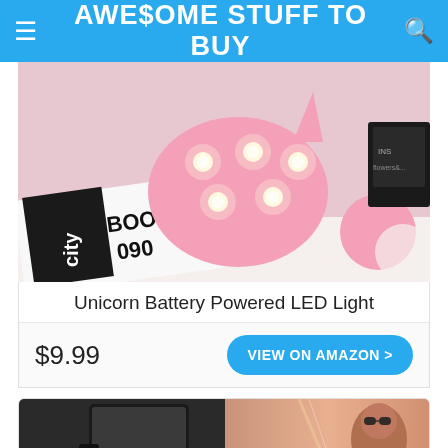AWE$OME STUFF TO BUY
[Figure (photo): Pink unicorn shaped LED light with glowing bulbs, placed on a book/magazine surface, with decorative items in background]
Unicorn Battery Powered LED Light
$9.99
VIEW ON AMAZON >
[Figure (photo): Partial product image showing a smartphone/device accessory on left, and a person wearing sunglasses in warm light on right]